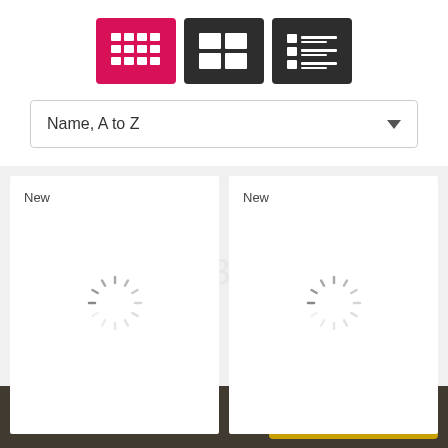[Figure (screenshot): Three view-toggle buttons: first (grid/tile view) is active in pink/red, second (card view) and third (list view) are dark gray]
Name, A to Z
[Figure (screenshot): Two product cards each labeled 'New' with loading spinners in center, on a light gray background]
By continuing use this site, you ag... Terms & Conditions and our use o...
Whatsapp Live Chat